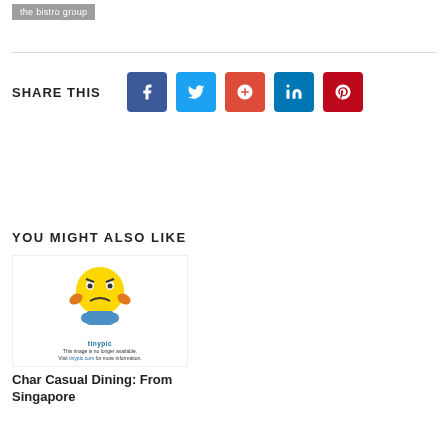the bistro group
SHARE THIS
[Figure (infographic): Social share buttons: Facebook, Twitter, Google+, LinkedIn, Pinterest]
YOU MIGHT ALSO LIKE
[Figure (illustration): Tinypic placeholder image: frustrated yellow smiley emoji with text 'This image is no longer available. Visit tinypic.com for more information.']
Char Casual Dining: From Singapore